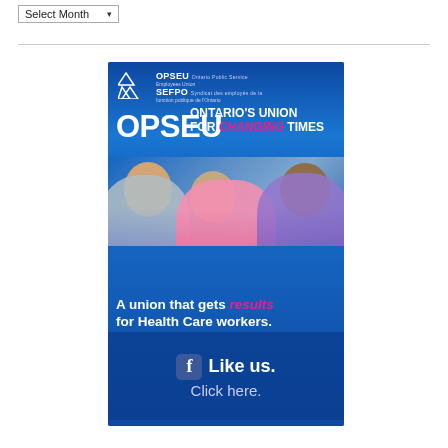Select Month
[Figure (illustration): OPSEU SEFPO union advertisement banner showing three smiling healthcare workers (nurses) in scrubs with text: OPSEU Ontario's Union for Changing Times, A union that gets results for Health Care workers, Like us. Click here. with Facebook icon.]